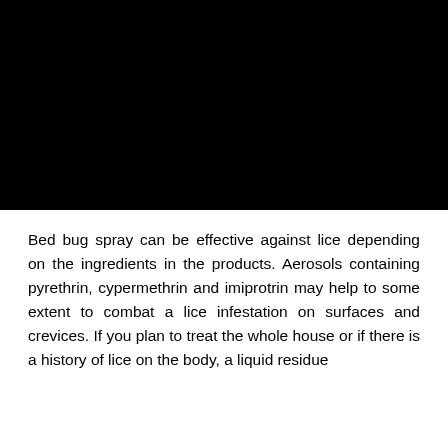[Figure (photo): Black image area at the top of the page, likely a photograph that is not visible due to rendering.]
Bed bug spray can be effective against lice depending on the ingredients in the products. Aerosols containing pyrethrin, cypermethrin and imiprotrin may help to some extent to combat a lice infestation on surfaces and crevices. If you plan to treat the whole house or if there is a history of lice on the body, a liquid residue